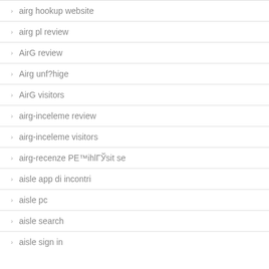airg hookup website
airg pl review
AirG review
Airg unf?hige
AirG visitors
airg-inceleme review
airg-inceleme visitors
airg-recenze PE™ihlГЎsit se
aisle app di incontri
aisle pc
aisle search
aisle sign in